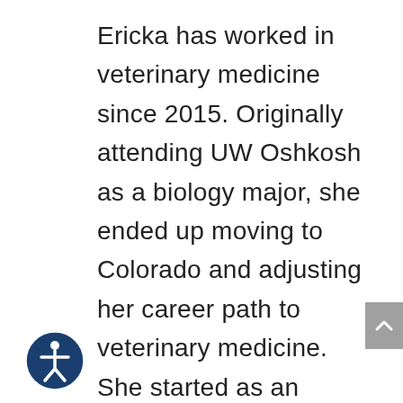Ericka has worked in veterinary medicine since 2015. Originally attending UW Oshkosh as a biology major, she ended up moving to Colorado and adjusting her career path to veterinary medicine. She started as an assistant at an emergency clinic in Denver and quickly advanced to a technician. After earning her AAS in Animal Technology and passing the national board exam, she became a CVT (Certified Veterinary Technician). She worked in emergency medicine for 3 years before switching to general practice. Before moving